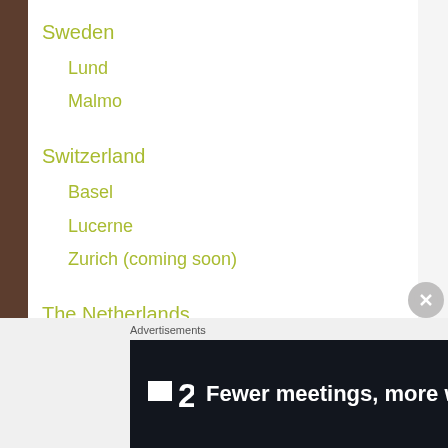Sweden
Lund
Malmo
Switzerland
Basel
Lucerne
Zurich (coming soon)
The Netherlands
Amsterdam
Delft
Advertisements
[Figure (other): Advertisement banner: logo showing a square icon with '2' and text 'Fewer meetings, more work.' on dark background]